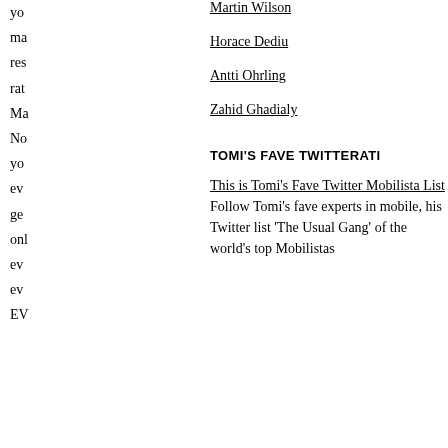yo
ma
res
rat
Ma
No
yo
ev
ge
onl
ev
ev
EV
Martin Wilson
Horace Dediu
Antti Ohrling
Zahid Ghadialy
TOMI'S FAVE TWITTERATI
This is Tomi's Fave Twitter Mobilista List
Follow Tomi's fave experts in mobile, his Twitter list 'The Usual Gang' of the world's top Mobilistas
SH
ST